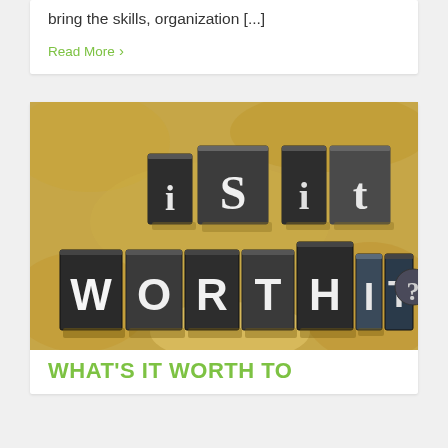bring the skills, organization [...]
Read More ›
[Figure (photo): Letterpress metal type blocks arranged to spell out 'is it WORTH IT?' on a golden/tan textured background. The letters are metallic 3D blocks casting shadows.]
WHAT'S IT WORTH TO